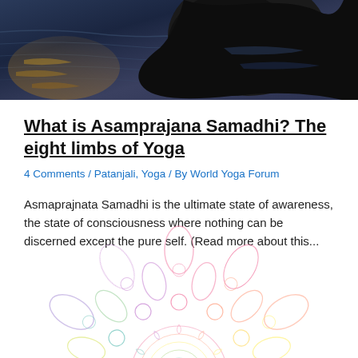[Figure (photo): Top portion of a photo showing a dark rock or figure in water with reflections of golden/blue light on the water surface]
What is Asamprajana Samadhi? The eight limbs of Yoga
4 Comments / Patanjali, Yoga / By World Yoga Forum
Asmaprajnata Samadhi is the ultimate state of awareness, the state of consciousness where nothing can be discerned except the pure self. (Read more about this...
[Figure (illustration): Colorful mandala illustration with rainbow gradient (pink, orange, yellow, green) showing intricate floral and geometric patterns, partially visible at the bottom of the page]